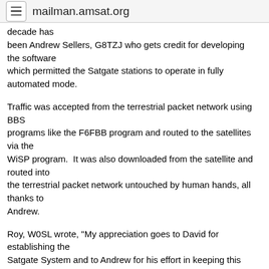mailman.amsat.org
decade has been Andrew Sellers, G8TZJ who gets credit for developing the software which permitted the Satgate stations to operate in fully automated mode.
Traffic was accepted from the terrestrial packet network using BBS programs like the F6FBB program and routed to the satellites via the WiSP program.  It was also downloaded from the satellite and routed into the terrestrial packet network untouched by human hands, all thanks to Andrew.
Roy, W0SL wrote, "My appreciation goes to David for establishing the Satgate System and to Andrew for his effort in keeping this Network going.